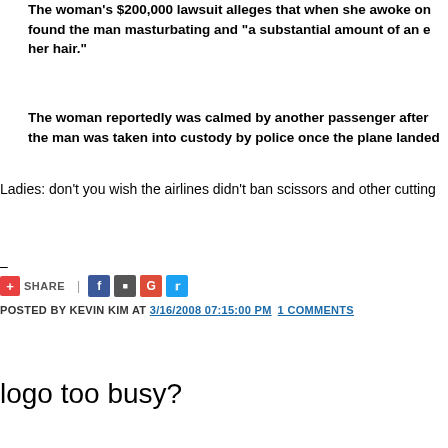The woman's $200,000 lawsuit alleges that when she awoke on [the plane], she found the man masturbating and "a substantial amount of an e[jaculatory fluid on] her hair."
The woman reportedly was calmed by another passenger after [the incident, and] the man was taken into custody by police once the plane landed[.]
Ladies: don't you wish the airlines didn't ban scissors and other cutting[tools?]
–
SHARE | [social icons]
POSTED BY KEVIN KIM AT 3/16/2008 07:15:00 PM   1 COMMENTS
logo too busy?